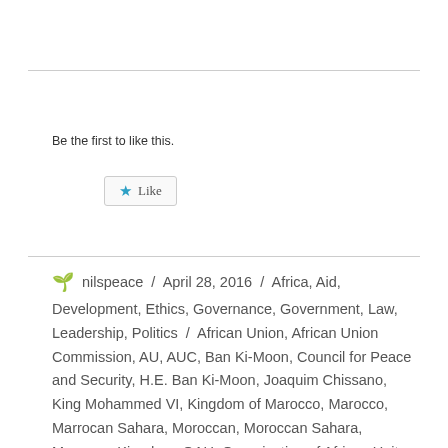[Figure (other): Like button with star icon]
Be the first to like this.
nilspeace / April 28, 2016 / Africa, Aid, Development, Ethics, Governance, Government, Law, Leadership, Politics / African Union, African Union Commission, AU, AUC, Ban Ki-Moon, Council for Peace and Security, H.E. Ban Ki-Moon, Joaquim Chissano, King Mohammed VI, Kingdom of Marocco, Marocco, Marrocan Sahara, Moroccan, Moroccan Sahara, Morrocan Kingdom, OAU, Organization of African Unity, Salaheddine Mezouar, Secretary-General Ban Ki-Moon, UN, UN Secretary General, UN Security Council, United Nation, United Nation Security Council, United Nations Mission for the Referendum in Western Sahara, Western Sahara / Leave a comment